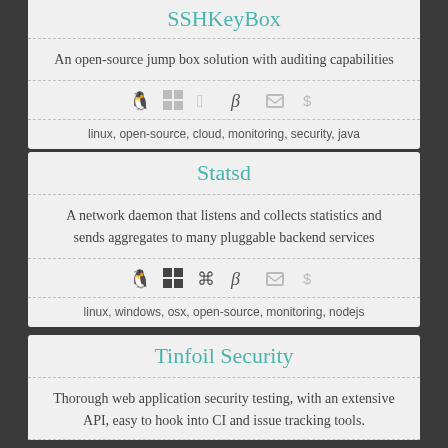SSHKeyBox
An open-source jump box solution with auditing capabilities
[Figure (infographic): Platform icons: linux (active), windows (faded), mac (faded), git (active), box (faded), dollar (faded)]
linux, open-source, cloud, monitoring, security, java
Statsd
A network daemon that listens and collects statistics and sends aggregates to many pluggable backend services
[Figure (infographic): Platform icons: linux (active), windows (active), mac (active), git (active), box (faded), dollar (faded)]
linux, windows, osx, open-source, monitoring, nodejs
Tinfoil Security
Thorough web application security testing, with an extensive API, easy to hook into CI and issue tracking tools.